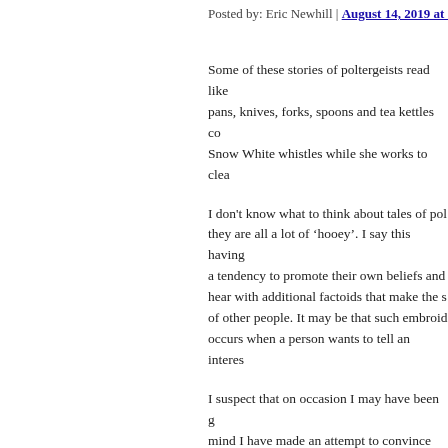Posted by: Eric Newhill | August 14, 2019 at 11:58 AM
Some of these stories of poltergeists read like pans, knives, forks, spoons and tea kettles co... Snow White whistles while she works to clea...
I don't know what to think about tales of pol... they are all a lot of 'hooey'. I say this having... a tendency to promote their own beliefs and ... hear with additional factoids that make the s... of other people. It may be that such embroid... occurs when a person wants to tell an interes...
I suspect that on occasion I may have been g... mind I have made an attempt to convince my... supernatural by manipulating the facts a little... find myself questioning almost everything I ... seemed at the time out of the ordinary. But I... themselves so maybe if I did I would be mor...
A little trembler from a small earthquake mig... and aftershocks may cause a repeat performa... experience to one lasting several days and at... story gets passed around and eventually gets...